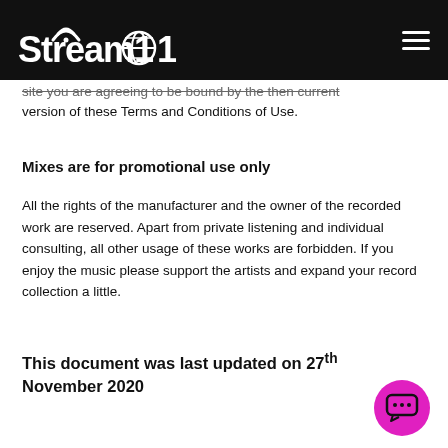Stream101
site you are agreeing to be bound by the then current version of these Terms and Conditions of Use.
Mixes are for promotional use only
All the rights of the manufacturer and the owner of the recorded work are reserved. Apart from private listening and individual consulting, all other usage of these works are forbidden. If you enjoy the music please support the artists and expand your record collection a little.
This document was last updated on 27th November 2020